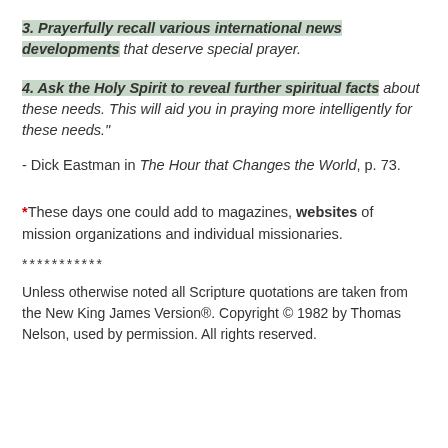3. Prayerfully recall various international news developments that deserve special prayer.
4. Ask the Holy Spirit to reveal further spiritual facts about these needs. This will aid you in praying more intelligently for these needs."
- Dick Eastman in The Hour that Changes the World, p. 73.
*These days one could add to magazines, websites of mission organizations and individual missionaries.
***********
Unless otherwise noted all Scripture quotations are taken from the New King James Version®. Copyright © 1982 by Thomas Nelson, used by permission. All rights reserved.